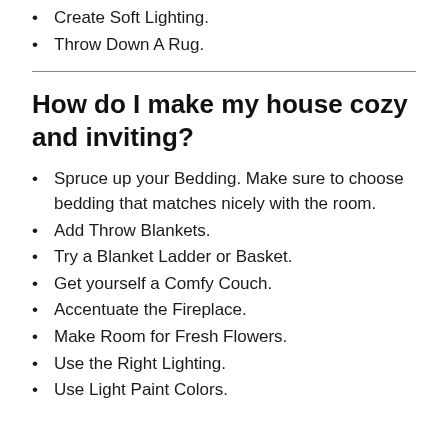Create Soft Lighting.
Throw Down A Rug.
How do I make my house cozy and inviting?
Spruce up your Bedding. Make sure to choose bedding that matches nicely with the room.
Add Throw Blankets.
Try a Blanket Ladder or Basket.
Get yourself a Comfy Couch.
Accentuate the Fireplace.
Make Room for Fresh Flowers.
Use the Right Lighting.
Use Light Paint Colors.